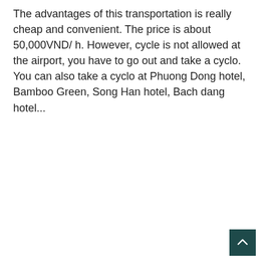The advantages of this transportation is really cheap and convenient. The price is about 50,000VND/ h. However, cycle is not allowed at the airport, you have to go out and take a cyclo. You can also take a cyclo at Phuong Dong hotel, Bamboo Green, Song Han hotel, Bach dang hotel...